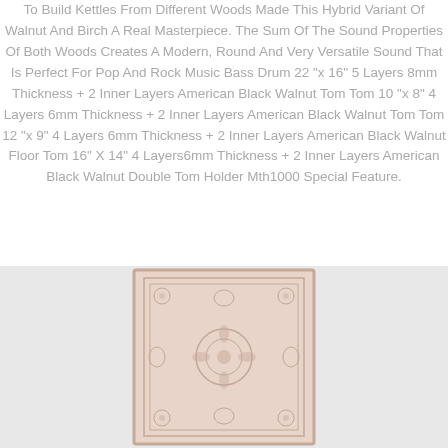To Build Kettles From Different Woods Made This Hybrid Variant Of Walnut And Birch A Real Masterpiece. The Sum Of The Sound Properties Of Both Woods Creates A Modern, Round And Very Versatile Sound That Is Perfect For Pop And Rock Music Bass Drum 22 "x 16" 5 Layers 8mm Thickness + 2 Inner Layers American Black Walnut Tom Tom 10 "x 8" 4 Layers 6mm Thickness + 2 Inner Layers American Black Walnut Tom Tom 12 "x 9" 4 Layers 6mm Thickness + 2 Inner Layers American Black Walnut Floor Tom 16" X 14" 4 Layers6mm Thickness + 2 Inner Layers American Black Walnut Double Tom Holder Mth1000 Special Feature.
[Figure (photo): A decorative rug or carpet with a floral/geometric pattern in light beige and dusty rose tones, centered on a light gray background.]